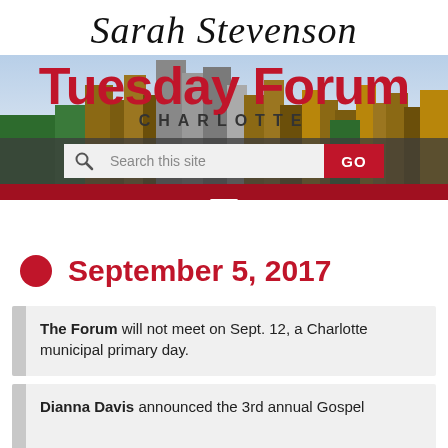[Figure (logo): Sarah Stevenson Tuesday Forum Charlotte logo with city skyline background, search bar with GO button, and dark red hamburger menu navigation bar]
September 5, 2017
The Forum will not meet on Sept. 12, a Charlotte municipal primary day.
Dianna Davis announced the 3rd annual Gospel